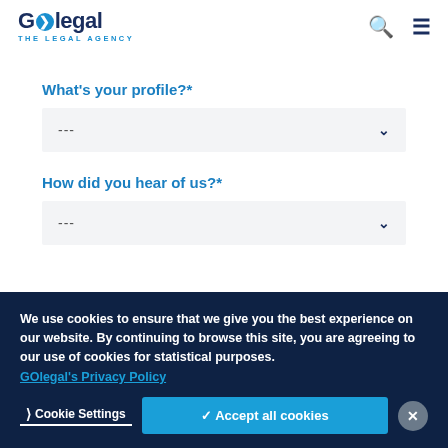[Figure (logo): GOlegal - The Legal Agency logo with blue circular arrow icon]
What's your profile?*
[Figure (screenshot): Dropdown selector with placeholder '---' and chevron down arrow]
How did you hear of us?*
[Figure (screenshot): Dropdown selector with placeholder '---' and chevron down arrow]
We use cookies to ensure that we give you the best experience on our website. By continuing to browse this site, you are agreeing to our use of cookies for statistical purposes. GOlegal's Privacy Policy